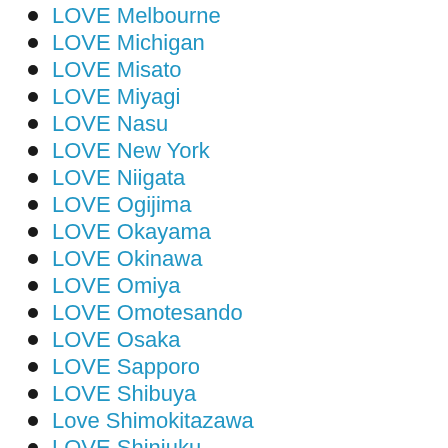LOVE Melbourne
LOVE Michigan
LOVE Misato
LOVE Miyagi
LOVE Nasu
LOVE New York
LOVE Niigata
LOVE Ogijima
LOVE Okayama
LOVE Okinawa
LOVE Omiya
LOVE Omotesando
LOVE Osaka
LOVE Sapporo
LOVE Shibuya
Love Shimokitazawa
LOVE Shinjuku